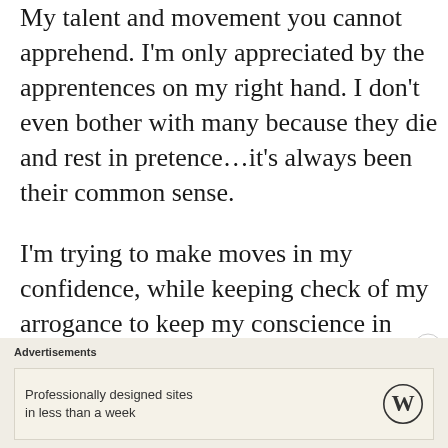My talent and movement you cannot apprehend. I'm only appreciated by the apprentences on my right hand. I don't even bother with many because they die and rest in pretence...it's always been their common sense.
I'm trying to make moves in my confidence, while keeping check of my arrogance to keep my conscience in balance.
Advertisements
Professionally designed sites in less than a week